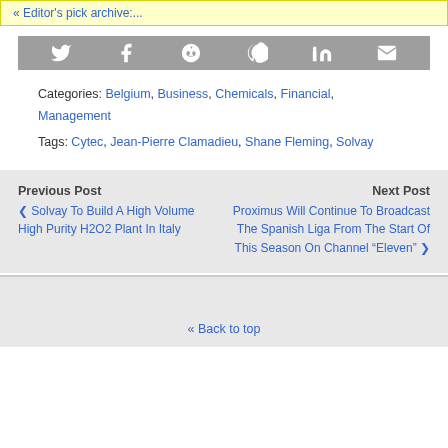Editor's pick archive:...
[Figure (other): Social sharing icon bar with Twitter, Facebook, Reddit, Pinterest, LinkedIn, and Email icons on grey background]
Categories: Belgium, Business, Chemicals, Financial, Management
Tags: Cytec, Jean-Pierre Clamadieu, Shane Fleming, Solvay
Previous Post
Next Post
Solvay To Build A High Volume High Purity H2O2 Plant In Italy
Proximus Will Continue To Broadcast The Spanish Liga From The Start Of This Season On Channel "Eleven"
Back to top